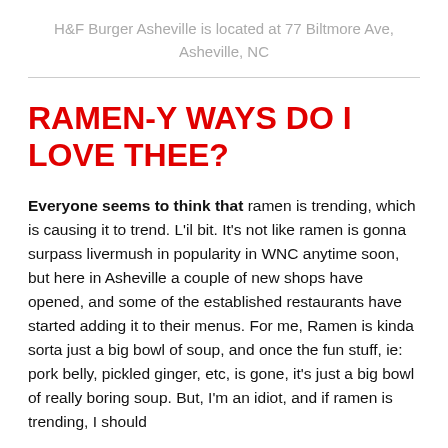H&F Burger Asheville is located at 77 Biltmore Ave, Asheville, NC
RAMEN-Y WAYS DO I LOVE THEE?
Everyone seems to think that ramen is trending, which is causing it to trend. L'il bit. It's not like ramen is gonna surpass livermush in popularity in WNC anytime soon, but here in Asheville a couple of new shops have opened, and some of the established restaurants have started adding it to their menus. For me, Ramen is kinda sorta just a big bowl of soup, and once the fun stuff, ie: pork belly, pickled ginger, etc, is gone, it's just a big bowl of really boring soup. But, I'm an idiot, and if ramen is trending, I should